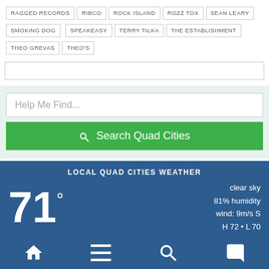RAGGED RECORDS  RIBCO  ROCK ISLAND  ROZZ TOX  SEAN LEARY  SMOKING DOG  SPEAKEASY  TERRY TILKA  THE ESTABLISHMENT  THEO GREVAS  THEO'S
Help Me Find...
Search Quad Cities
LOCAL QUAD CITIES WEATHER
71°  clear sky  81% humidity  wind: 9m/s S  H 72 • L 70